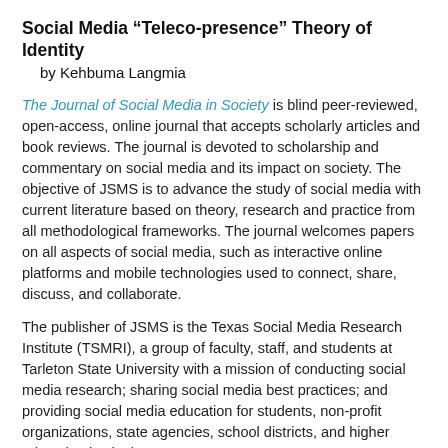Social Media “Teleco-presence” Theory of Identity
    by Kehbuma Langmia
The Journal of Social Media in Society is blind peer-reviewed, open-access, online journal that accepts scholarly articles and book reviews. The journal is devoted to scholarship and commentary on social media and its impact on society. The objective of JSMS is to advance the study of social media with current literature based on theory, research and practice from all methodological frameworks. The journal welcomes papers on all aspects of social media, such as interactive online platforms and mobile technologies used to connect, share, discuss, and collaborate.
The publisher of JSMS is the Texas Social Media Research Institute (TSMRI), a group of faculty, staff, and students at Tarleton State University with a mission of conducting social media research; sharing social media best practices; and providing social media education for students, non-profit organizations, state agencies, school districts, and higher education institutions.